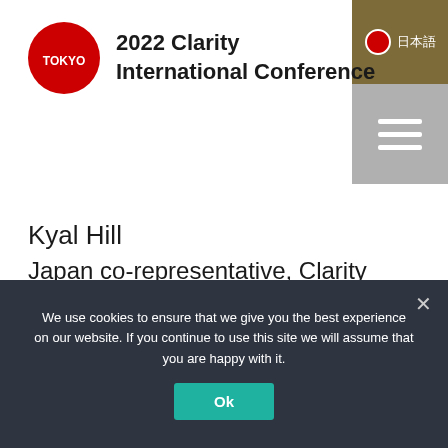[Figure (logo): 2022 Clarity International Conference header with Tokyo red circle logo on the left and conference title text, plus a gold/olive Japanese language button and gray hamburger menu button in the top right corner]
Kyal Hill
Japan co-representative, Clarity International
We use cookies to ensure that we give you the best experience on our website. If you continue to use this site we will assume that you are happy with it.